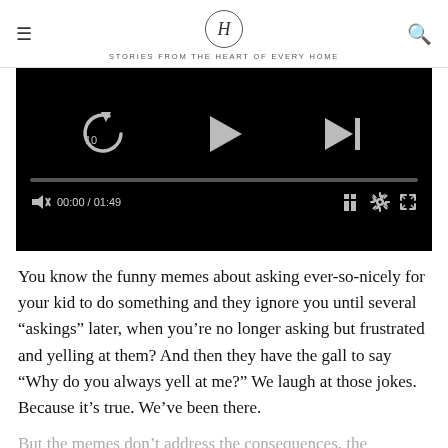H — STORIES FROM THE HEART OF EVERY HOME
[Figure (screenshot): A video player with black background showing playback controls: replay 10s button, play button, skip-next button, a progress bar at 00:00/01:49, and bottom controls including mute, time display, grid, settings, and fullscreen icons.]
You know the funny memes about asking ever-so-nicely for your kid to do something and they ignore you until several “askings” later, when you’re no longer asking but frustrated and yelling at them? And then they have the gall to say “Why do you always yell at me?” We laugh at those jokes. Because it’s true. We’ve been there.
But the memes don’t address the consequences, the